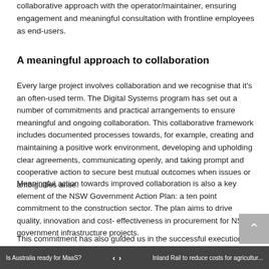collaborative approach with the operator/maintainer, ensuring engagement and meaningful consultation with frontline employees as end-users.
A meaningful approach to collaboration
Every large project involves collaboration and we recognise that it's an often-used term. The Digital Systems program has set out a number of commitments and practical arrangements to ensure meaningful and ongoing collaboration. This collaborative framework includes documented processes towards, for example, creating and maintaining a positive work environment, developing and upholding clear agreements, communicating openly, and taking prompt and cooperative action to secure best mutual outcomes when issues or ambiguities arise.
Meaningful action towards improved collaboration is also a key element of the NSW Government Action Plan: a ten point commitment to the construction sector. The plan aims to drive quality, innovation and cost-effectiveness in procurement for NSW government infrastructure projects.
This commitment has also guided us in the successful execution of our first major contracts — the System Integrator, Network Rail Consulting (NRC) in combination with its partners Acmena, The Go-Ahead Group and
Is Australia ready for MaaS?   ‹   ›   Inland Rail to reduce costs for agricultur...